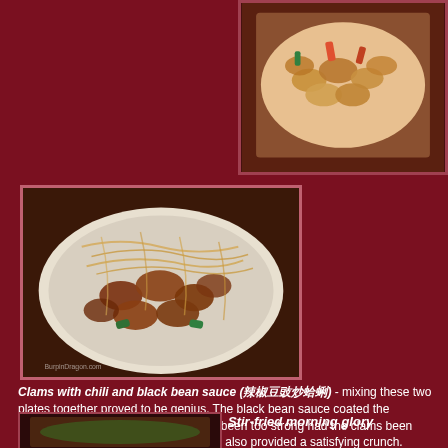[Figure (photo): Clams dish on white plate, stir-fried with vegetables, top-right photo]
[Figure (photo): Clams with chili and black bean sauce topped with fried vermicelli noodles on a white plate, main large photo]
Clams with chili and black bean sauce (辣椒豆豉炒蛤蜊) - mixing these two plates together proved to be genius. The black bean sauce coated the vermicelli, and the flavors would have been too strong had the clams been served on their own. The fried noodles also provided a satisfying crunch. Another winner.
[Figure (photo): Stir-fried morning glory, partial bottom photo]
Stir-fried morning glory